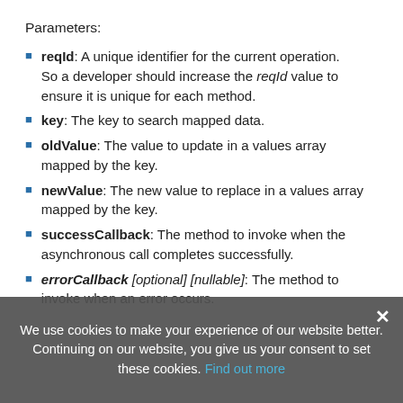Parameters:
reqId: A unique identifier for the current operation. So a developer should increase the reqId value to ensure it is unique for each method.
key: The key to search mapped data.
oldValue: The value to update in a values array mapped by the key.
newValue: The new value to replace in a values array mapped by the key.
successCallback: The method to invoke when the asynchronous call completes successfully.
errorCallback [optional] [nullable]: The method to invoke when an error occurs.
We use cookies to make your experience of our website better. Continuing on our website, you give us your consent to set these cookies. Find out more